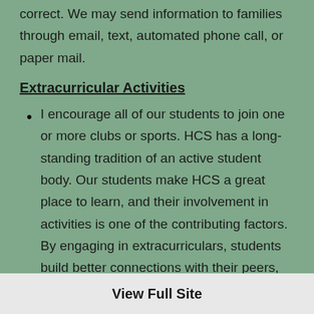correct. We may send information to families through email, text, automated phone call, or paper mail.
Extracurricular Activities
I encourage all of our students to join one or more clubs or sports. HCS has a long-standing tradition of an active student body. Our students make HCS a great place to learn, and their involvement in activities is one of the contributing factors. By engaging in extracurriculars, students build better connections with their peers, adults,
View Full Site